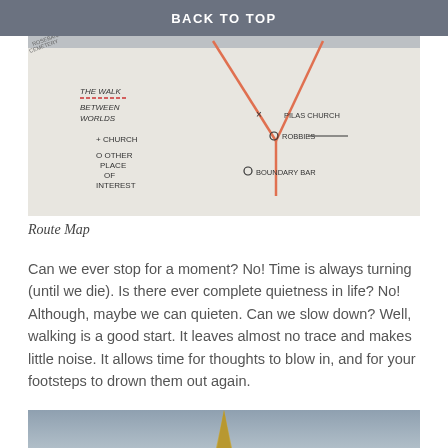BACK TO TOP
[Figure (photo): Hand-drawn route map on white paper showing a V-shaped path with labels: 'THE WALK BETWEEN WORLDS', '+ CHURCH', 'O OTHER PLACE OF INTEREST', 'PILAS CHURCH', 'ROBBIES', 'BOUNDARY BAR'. Lines drawn in orange/red pen with handwritten text.]
Route Map
Can we ever stop for a moment? No! Time is always turning (until we die). Is there ever complete quietness in life? No! Although, maybe we can quieten. Can we slow down? Well, walking is a good start. It leaves almost no trace and makes little noise. It allows time for thoughts to blow in, and for your footsteps to drown them out again.
[Figure (photo): Bottom of page showing partial photo of a church spire or steeple against a grey sky.]